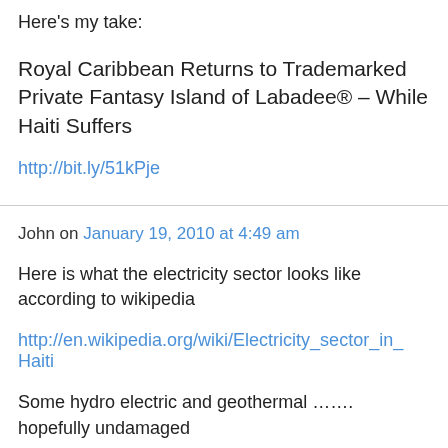Here's my take:
Royal Caribbean Returns to Trademarked Private Fantasy Island of Labadee® – While Haiti Suffers
http://bit.ly/51kPje
John on January 19, 2010 at 4:49 am
Here is what the electricity sector looks like according to wikipedia
http://en.wikipedia.org/wiki/Electricity_sector_in_Haiti
Some hydro electric and geothermal ……. hopefully undamaged